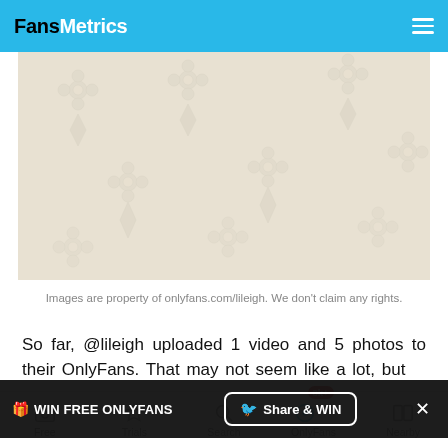FansMetrics
[Figure (photo): Close-up of cream/beige embossed Louis Vuitton monogram leather texture pattern]
Images are property of onlyfans.com/lileigh. We don't claim any rights.
So far, @lileigh uploaded 1 video and 5 photos to their OnlyFans. That may not seem like a lot, but
Besides that, I know these things can get quite
Free  Trials  Search  OnlyFans 3k+  Nearby